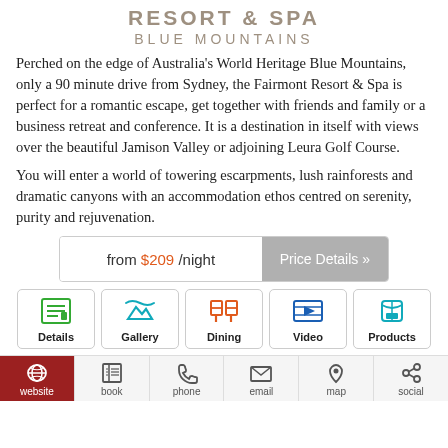RESORT & SPA
BLUE MOUNTAINS
Perched on the edge of Australia's World Heritage Blue Mountains, only a 90 minute drive from Sydney, the Fairmont Resort & Spa is perfect for a romantic escape, get together with friends and family or a business retreat and conference. It is a destination in itself with views over the beautiful Jamison Valley or adjoining Leura Golf Course.
You will enter a world of towering escarpments, lush rainforests and dramatic canyons with an accommodation ethos centred on serenity, purity and rejuvenation.
from $209 /night  Price Details »
Details
Gallery
Dining
Video
Products
website
book
phone
email
map
social